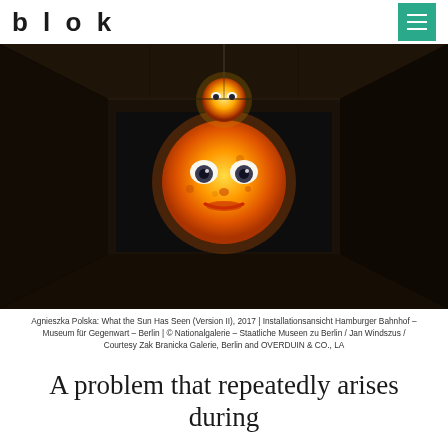blok
[Figure (photo): Installation view of Agnieszka Polska's 'What the Sun Has Seen (Version II)' showing a dark room with a large projection of an animated sun face with eyes and lips on the back wall, and a smaller glowing orb hanging from the ceiling.]
Agnieszka Polska: What the Sun Has Seen (Version II), 2017 | Installationsansicht Hamburger Bahnhof – Museum für Gegenwart – Berlin | © Nationalgalerie – Staatliche Museen zu Berlin / Jan Windszus / Courtesy Zak Branicka Galerie, Berlin and OVERDUIN & CO., LA
A problem that repeatedly arises during